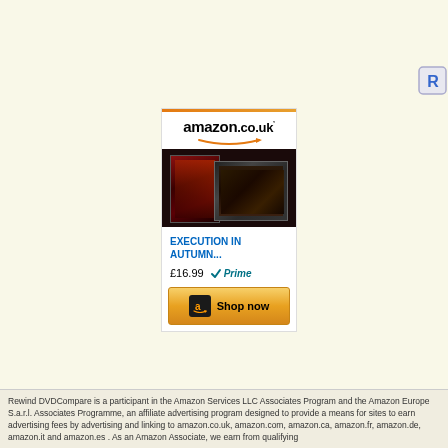[Figure (screenshot): Amazon.co.uk advertisement for 'Execution in Autumn...' DVD/Blu-ray, showing product image, price £16.99 with Prime badge, and Shop now button]
Rewind DVDCompare is a participant in the Amazon Services LLC Associates Program and the Amazon Europe S.a.r.l. Associates Programme, an affiliate advertising program designed to provide a means for sites to earn advertising fees by advertising and linking to amazon.co.uk, amazon.com, amazon.ca, amazon.fr, amazon.de, amazon.it and amazon.es . As an Amazon Associate, we earn from qualifying